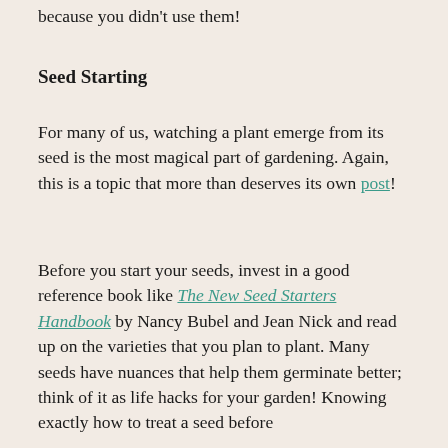because you didn't use them!
Seed Starting
For many of us, watching a plant emerge from its seed is the most magical part of gardening. Again, this is a topic that more than deserves its own post!
Before you start your seeds, invest in a good reference book like The New Seed Starters Handbook by Nancy Bubel and Jean Nick and read up on the varieties that you plan to plant. Many seeds have nuances that help them germinate better; think of it as life hacks for your garden! Knowing exactly how to treat a seed before